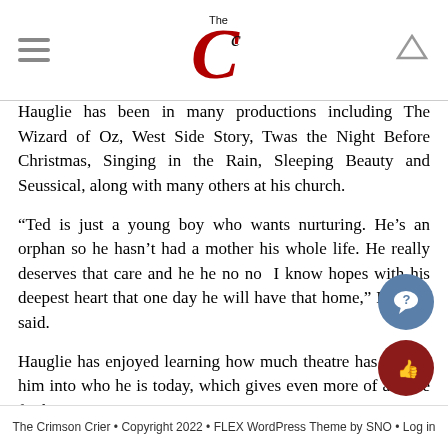The Crimson Crier
Hauglie has been in many productions including The Wizard of Oz, West Side Story, Twas the Night Before Christmas, Singing in the Rain, Sleeping Beauty and Seussical, along with many others at his church.
“Ted is just a young boy who wants nurturing. He’s an orphan so he hasn’t had a mother his whole life. He really deserves that care and he he no no  I know hopes with his deepest heart that one day he will have that home,” Hauglie said.
Hauglie has enjoyed learning how much theatre has shaped him into who he is today, which gives even more of a drive for his passion.
“I am proud of how far I’ve come. I used to be so scared of life and where it would take me. Now, I appreciate everything I do every day. Being able to still do these two shows has saved so many, and I believe we will do so m…
The Crimson Crier • Copyright 2022 • FLEX WordPress Theme by SNO • Log in